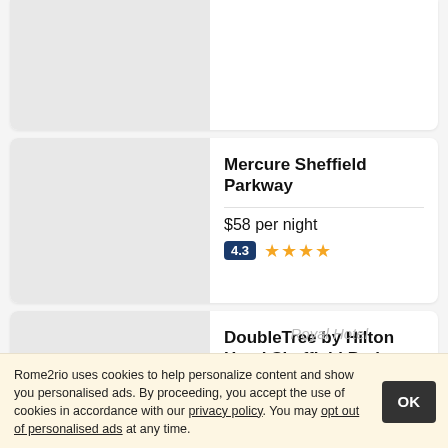[Figure (photo): Partial hotel card at top, cut off, with grey image placeholder on left]
Mercure Sheffield Parkway
$58 per night
4.3 ★★★★
DoubleTree by Hilton Hotel Sheffield Park
$65 per night
4.2 ★★★★
Royal Hotel
Rome2rio uses cookies to help personalize content and show you personalised ads. By proceeding, you accept the use of cookies in accordance with our privacy policy. You may opt out of personalised ads at any time.